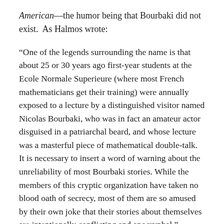American—the humor being that Bourbaki did not exist.  As Halmos wrote:
“One of the legends surrounding the name is that about 25 or 30 years ago first-year students at the Ecole Normale Superieure (where most French mathematicians get their training) were annually exposed to a lecture by a distinguished visitor named Nicolas Bourbaki, who was in fact an amateur actor disguised in a patriarchal beard, and whose lecture was a masterful piece of mathematical double-talk.  It is necessary to insert a word of warning about the unreliability of most Bourbaki stories. While the members of this cryptic organization have taken no blood oath of secrecy, most of them are so amused by their own joke that their stories about themselves are intentionally conflicting and apocryphal.”
Nicholas Bourbaki was the pseudonym for a group of French mathematicians who wished to write a treatise which would